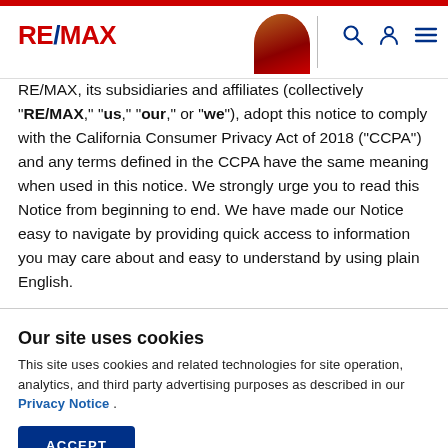RE/MAX header with logo, profile photo, search, account, and menu icons
RE/MAX, its subsidiaries and affiliates (collectively "RE/MAX," "us," "our," or "we"), adopt this notice to comply with the California Consumer Privacy Act of 2018 ("CCPA") and any terms defined in the CCPA have the same meaning when used in this notice. We strongly urge you to read this Notice from beginning to end. We have made our Notice easy to navigate by providing quick access to information you may care about and easy to understand by using plain English.
Our site uses cookies
This site uses cookies and related technologies for site operation, analytics, and third party advertising purposes as described in our Privacy Notice .
ACCEPT